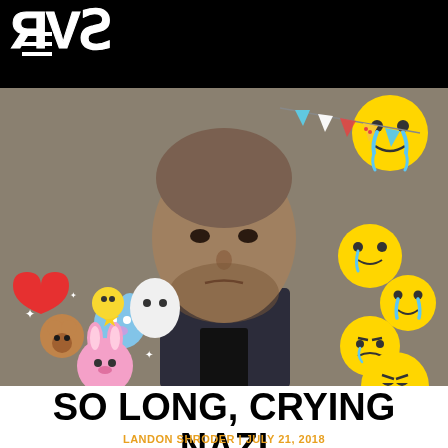RVS
[Figure (photo): A bald man looking upward with a serious expression, overlaid with cartoon BT21 character stickers on the left side and crying/sad emoji faces on the right side, with party flag bunting decoration in the upper right.]
SO LONG, CRYING NAZI
LANDON SHRODER | JULY 21, 2018